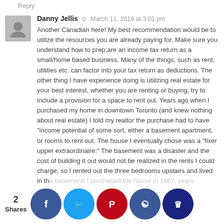Reply
Danny Jellis · March 11, 2019 at 3:01 pm
Another Canadian here! My best recommendation would be to utilize the resources you are already paying for. Make sure you understand how to prep;are an income tax return as a small/home based business. Many of the things, such as rent, utilities etc. can factor into your tax return as deductions. The other thing I have experience doing is utilizing real estate for your best interest, whether you are renting or buying, try to include a provision for a space to rent out. Years ago when I purchased my home in downtown Toronto (and knew nothing about real estate) I told my realtor the purchase had to have "income potential of some sort, either a basement apartment, or rooms to rent out. The house I eventually chose was a "fixer upper extraordinaire:" The basement was a disaster and the cost of building it out would not be realized in the rents I could charge, so I rented out the three bedrooms upstairs and lived in the basement! I purchased the house in 1987, years after looking to owning my dream now looking to sell the house
2 Shares